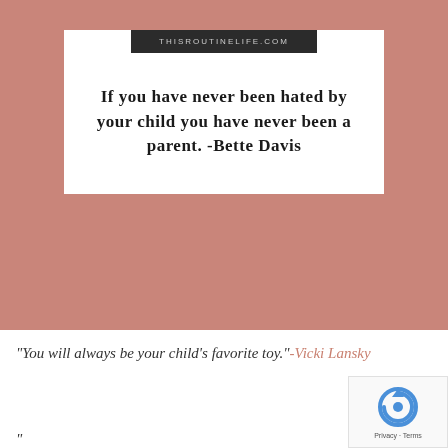[Figure (infographic): Rose/salmon pink square background with a white card overlay. A dark banner at the top reads THISROUTINELIFE.COM. The white card contains a bold quote: 'If you have never been hated by your child you have never been a parent. -Bette Davis']
"You will always be your child's favorite toy."-Vicki Lansky